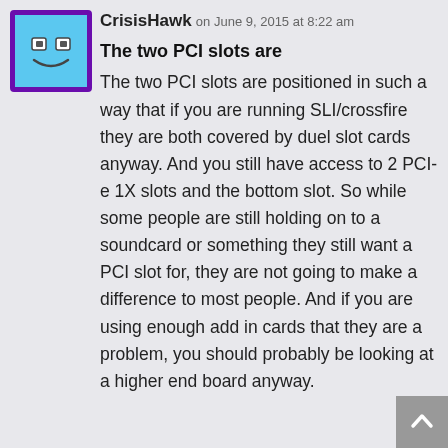[Figure (illustration): Avatar icon of a cartoon robot/face on a light blue background with a purple border]
CrisisHawk on June 9, 2015 at 8:22 am
The two PCI slots are
The two PCI slots are positioned in such a way that if you are running SLI/crossfire they are both covered by duel slot cards anyway. And you still have access to 2 PCI-e 1X slots and the bottom slot. So while some people are still holding on to a soundcard or something they still want a PCI slot for, they are not going to make a difference to most people. And if you are using enough add in cards that they are a problem, you should probably be looking at a higher end board anyway.